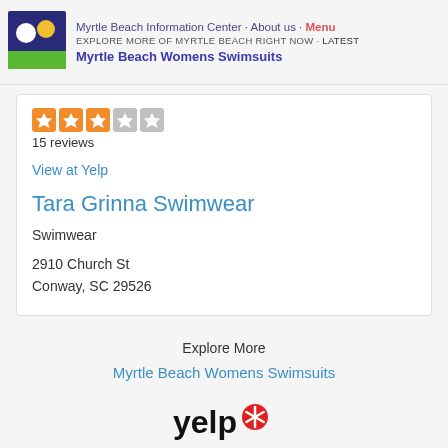Myrtle Beach Information Center · About us · Menu
EXPLORE MORE OF MYRTLE BEACH RIGHT NOW · Latest
Myrtle Beach Womens Swimsuits
[Figure (logo): Myrtle Beach Information Center logo — dark blue background with white circle, yellow circle, and green rectangle stripe]
[Figure (other): 3 filled orange star rating boxes and 2 empty grey star rating boxes (3 out of 5 stars)]
15 reviews
View at Yelp
Tara Grinna Swimwear
Swimwear
2910 Church St
Conway, SC 29526
Explore More
Myrtle Beach Womens Swimsuits
[Figure (logo): Yelp logo — 'yelp' in black bold text with red asterisk/burst symbol]